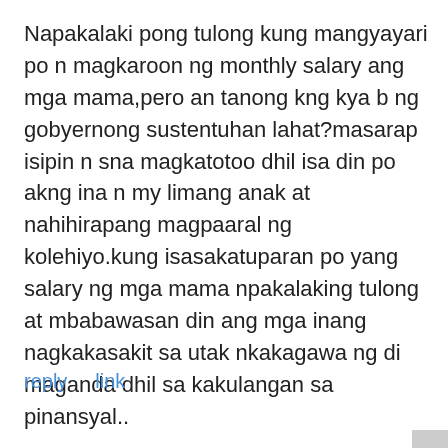Napakalaki pong tulong kung mangyayari po n magkaroon ng monthly salary ang mga mama,pero an tanong kng kya b ng gobyernong sustentuhan lahat?masarap isipin n sna magkatotoo dhil isa din po akng ina n my limang anak at nahihirapang magpaaral ng kolehiyo.kung isasakatuparan po yang salary ng mga mama npakalaking tulong at mbabawasan din ang mga inang nagkakasakit sa utak nkakagawa ng di maganda dhil sa kakulangan sa pinansyal..
reply   link